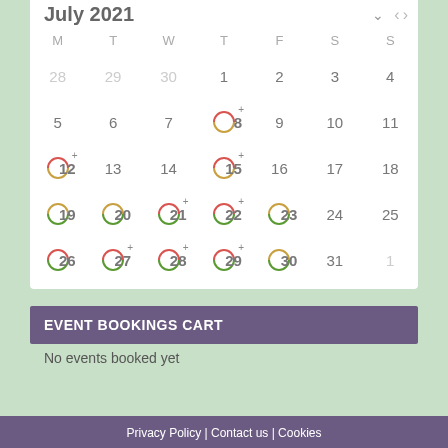July 2021
| M | T | W | T | F | S | S |
| --- | --- | --- | --- | --- | --- | --- |
| 28 | 29 | 30 | 1 | 2 | 3 | 4 |
| 5 | 6 | 7 | 8 | 9 | 10 | 11 |
| 12 | 13 | 14 | 15 | 16 | 17 | 18 |
| 19 | 20 | 21 | 22 | 23 | 24 | 25 |
| 26 | 27 | 28 | 29 | 30 | 31 | 1 |
EVENT BOOKINGS CART
No events booked yet
Privacy Policy | Contact us | Cookies